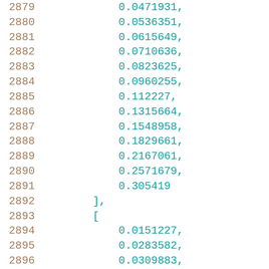2879    0.0471931,
2880    0.0536351,
2881    0.0615649,
2882    0.0710636,
2883    0.0823625,
2884    0.0960255,
2885    0.112227,
2886    0.1315664,
2887    0.1548958,
2888    0.1829661,
2889    0.2167061,
2890    0.2571679,
2891    0.305419
2892    ],
2893    [
2894    0.0151227,
2895    0.0283582,
2896    0.0309883,
2897    0.0341678,
2898    0.0379549,
2899    0.0425423,
2900    0.0480725,